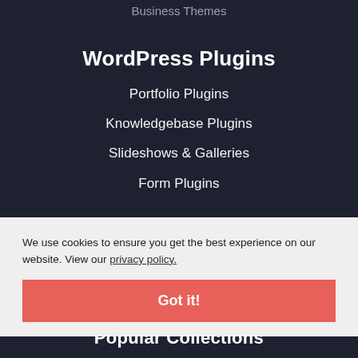Business Themes
WordPress Plugins
Portfolio Plugins
Knowledgebase Plugins
Slideshows & Galleries
Form Plugins
We use cookies to ensure you get the best experience on our website. View our privacy policy.
Got it!
Popular Collections
CSS Effects
PSD to HTML